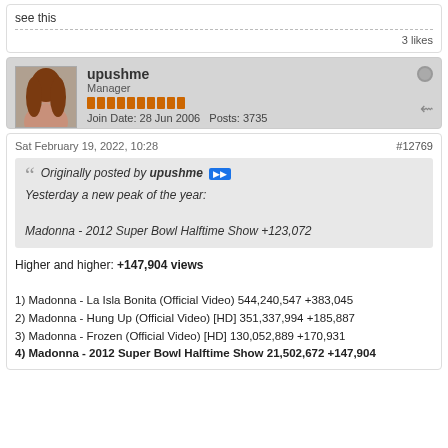see this
3 likes
upushme
Manager
Join Date: 28 Jun 2006  Posts: 3735
Sat February 19, 2022, 10:28
#12769
Originally posted by upushme
Yesterday a new peak of the year:
Madonna - 2012 Super Bowl Halftime Show +123,072
Higher and higher: +147,904 views
1) Madonna - La Isla Bonita (Official Video) 544,240,547 +383,045
2) Madonna - Hung Up (Official Video) [HD] 351,337,994 +185,887
3) Madonna - Frozen (Official Video) [HD] 130,052,889 +170,931
4) Madonna - 2012 Super Bowl Halftime Show 21,502,672 +147,904